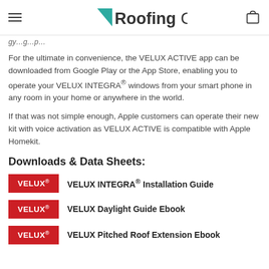RoofingOutlet.co.uk
(truncated/cropped text at top)
For the ultimate in convenience, the VELUX ACTIVE app can be downloaded from Google Play or the App Store, enabling you to operate your VELUX INTEGRA® windows from your smart phone in any room in your home or anywhere in the world.
If that was not simple enough, Apple customers can operate their new kit with voice activation as VELUX ACTIVE is compatible with Apple Homekit.
Downloads & Data Sheets:
VELUX INTEGRA® Installation Guide
VELUX Daylight Guide Ebook
VELUX Pitched Roof Extension Ebook